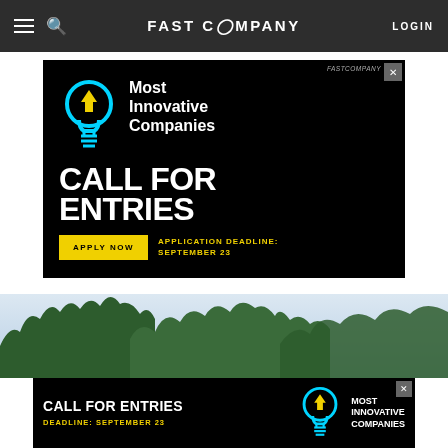FAST COMPANY — LOGIN
[Figure (infographic): Fast Company Most Innovative Companies advertisement. Black background with light bulb icon (cyan outline with yellow arrow). Text: Most Innovative Companies — CALL FOR ENTRIES — APPLY NOW — APPLICATION DEADLINE: SEPTEMBER 23]
[Figure (photo): Outdoor photo of trees against a light overcast sky, partial view]
[Figure (infographic): Bottom sticky banner ad: CALL FOR ENTRIES — Most Innovative Companies — DEADLINE: SEPTEMBER 23 with light bulb icon]